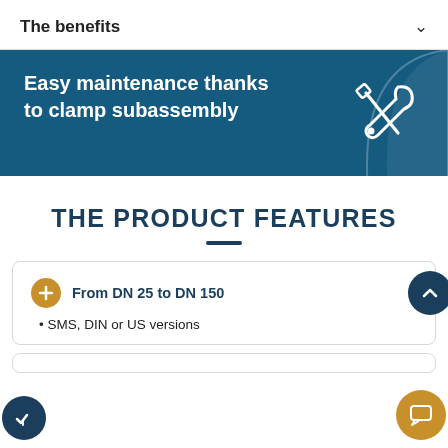The benefits
[Figure (illustration): Blue banner with white bold text reading 'Easy maintenance thanks to clamp subassembly' and a wrench/screwdriver icon on the right]
THE PRODUCT FEATURES
From DN 25 to DN 150
SMS, DIN or US versions